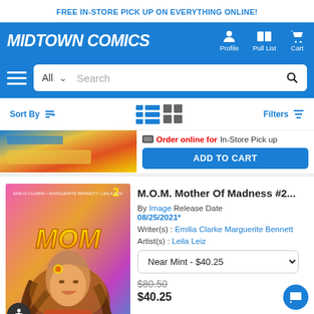FREE IN-STORE PICK UP ON EVERYTHING ONLINE!
[Figure (logo): Midtown Comics logo with navigation icons: Profile, Pull List, Cart]
[Figure (screenshot): Search bar with All dropdown and search input field]
Sort By | [list view icon] [grid view icon] | Filters
[Figure (photo): Partially visible comic book cover with colorful abstract art]
Order online for In-Store Pick up
ADD TO CART
M.O.M. Mother Of Madness #2...
By Image Release Date 08/25/2021*
Writer(s) : Emilia Clarke Marguerite Bennett Artist(s) : Leila Leiz
Near Mint - $40.25
$80.50
$40.25
[Figure (photo): M.O.M. Mother of Madness #2 comic book cover featuring a woman with long dark hair against a pink/orange background with the MOM logo in yellow letters]